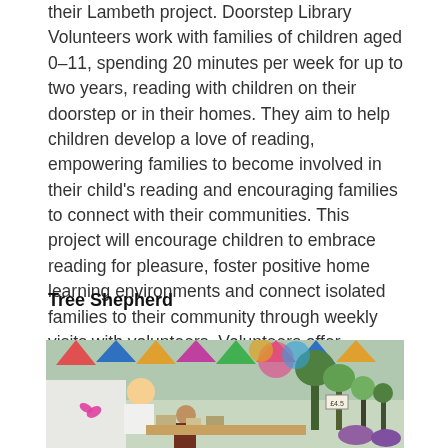their Lambeth project. Doorstep Library Volunteers work with families of children aged 0-11, spending 20 minutes per week for up to two years, reading with children on their doorstep or in their homes. They aim to help children develop a love of reading, empowering families to become involved in their child's reading and encouraging families to connect with their communities. This project will encourage children to embrace reading for pleasure, foster positive home learning environments and connect isolated families to their community through weekly visits with volunteers. Volunteers offer signposting to external services.
Tree Shepherd
[Figure (photo): Outdoor market or fair scene with people browsing stalls, colourful bunting overhead, and plants and flowers on display including a price sign reading £4.5]